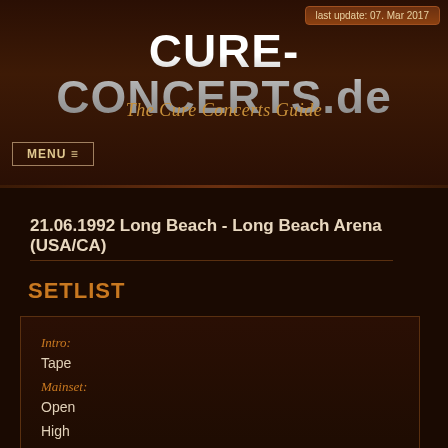last update: 07. Mar 2017
CURE-CONCERTS.de
The Cure Concerts Guide
MENU ≡
21.06.1992 Long Beach - Long Beach Arena (USA/CA)
SETLIST
Intro:
Tape
Mainset:
Open
High
Pictures Of You